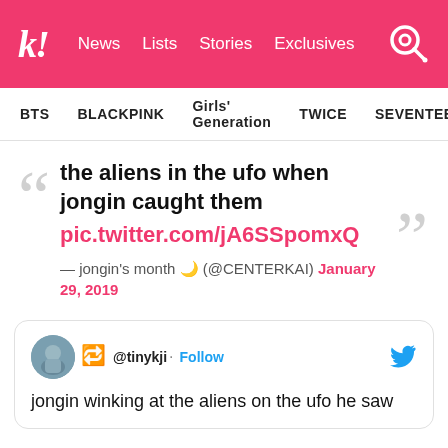Koreaboo – News | Lists | Stories | Exclusives
BTS  BLACKPINK  Girls' Generation  TWICE  SEVENTEEN
the aliens in the ufo when jongin caught them pic.twitter.com/jA6SSpomxQ
— jongin's month 🌙 (@CENTERKAI) January 29, 2019
jongin winking at the aliens on the ufo he saw